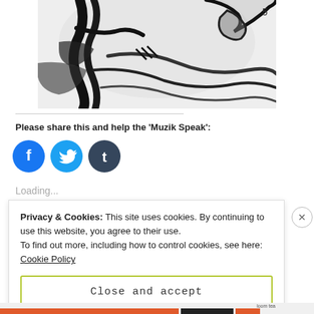[Figure (illustration): Black and white ink drawing showing abstract figures, partially cropped at top of page]
Please share this and help the 'Muzik Speak':
[Figure (infographic): Three social media share buttons: Facebook (blue circle), Twitter (light blue circle), Tumblr (dark blue circle)]
Loading...
Privacy & Cookies: This site uses cookies. By continuing to use this website, you agree to their use.
To find out more, including how to control cookies, see here: Cookie Policy
Close and accept